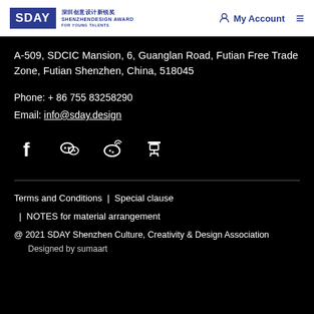SDAY Shenzhen Design Award for Young Talents | My Account
A-509, SDCIC Mansion, 6, Guanglan Road, Futian Free Trade Zone, Futian Shenzhen, China, 518045
Phone: + 86 755 83258290
Email: info@sday.design
[Figure (infographic): Social media icons: Facebook, WeChat, Weibo, Douban]
Terms and Conditions | Special clause | NOTES for material arrangement
@ 2021 SDAY Shenzhen Culture, Creativity & Design Association
Designed by sumaart